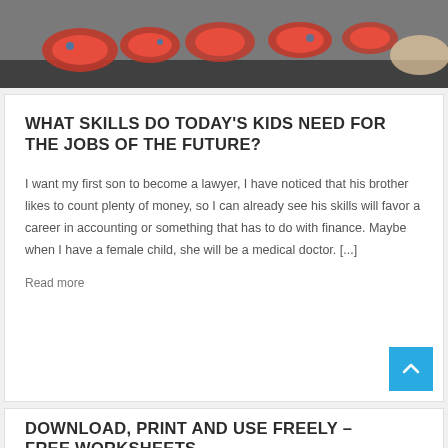[Figure (photo): Photo of red robotic/toy figures on a surface, partially visible at top of page]
WHAT SKILLS DO TODAY'S KIDS NEED FOR THE JOBS OF THE FUTURE?
I want my first son to become a lawyer, I have noticed that his brother likes to count plenty of money, so I can already see his skills will favor a career in accounting or something that has to do with finance. Maybe when I have a female child, she will be a medical doctor. [...]
Read more
DOWNLOAD, PRINT AND USE FREELY – FREE WORKSHEETS